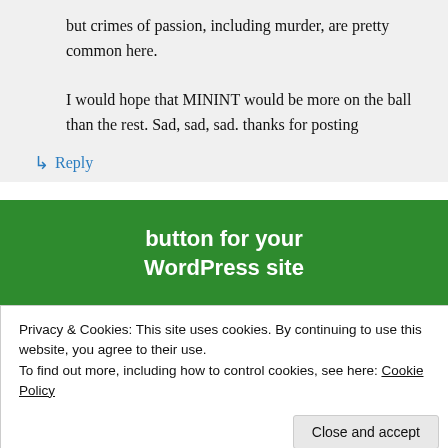but crimes of passion, including murder, are pretty common here.

I would hope that MININT would be more on the ball than the rest. Sad, sad, sad. thanks for posting
↳ Reply
[Figure (screenshot): Green advertisement banner with white bold text: 'button for your WordPress site']
Privacy & Cookies: This site uses cookies. By continuing to use this website, you agree to their use.
To find out more, including how to control cookies, see here: Cookie Policy
Close and accept